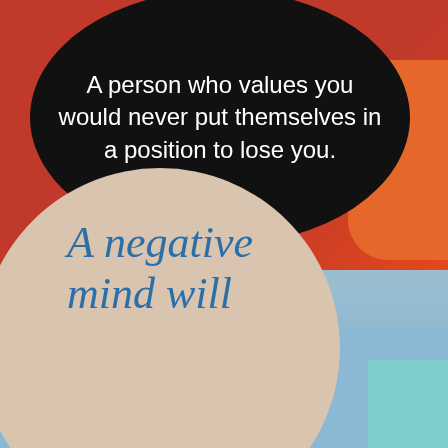[Figure (illustration): Motivational quote graphic with two sections. Top half has a red/orange abstract background with a large black oval containing white text quote. Middle has small black text. Bottom half shows a light blue background with a partial beige circle containing blue italic text.]
A person who values you would never put themselves in a position to lose you.
Remember Your Worth!
A negative mind will